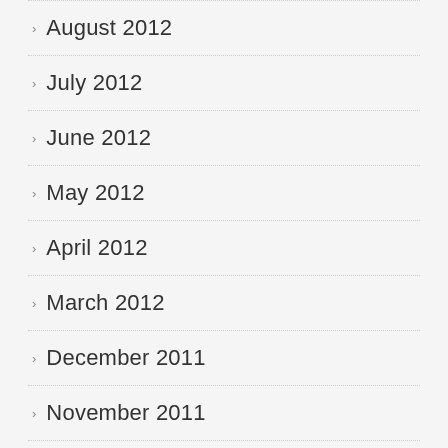August 2012
July 2012
June 2012
May 2012
April 2012
March 2012
December 2011
November 2011
October 2011